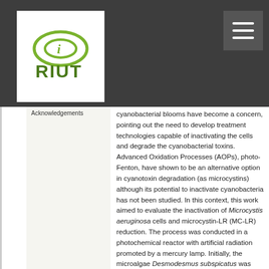RIUT logo and navigation header
Cyanobacterial blooms have become a concern, pointing out the need to develop treatment technologies capable of inactivating the cells and degrade the cyanobacterial toxins. Advanced Oxidation Processes (AOPs), photo-Fenton, have shown to be an alternative option in cyanotoxin degradation (as microcystins) although its potential to inactivate cyanobacteria has not been studied. In this context, this work aimed to evaluate the inactivation of Microcystis aeruginosa cells and microcystin-LR (MC-LR) reduction. The process was conducted in a photochemical reactor with artificial radiation promoted by a mercury lamp. Initially, the microalgae Desmodesmus subspicatus was adopted as experimental model to evaluate the isolated effects of the variables involved in photo-Fenton, for further evaluation with the